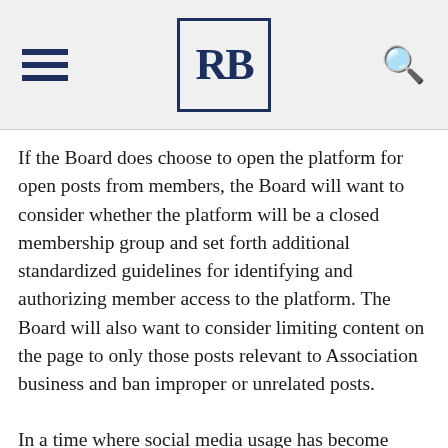RB logo with hamburger menu and search icon
If the Board does choose to open the platform for open posts from members, the Board will want to consider whether the platform will be a closed membership group and set forth additional standardized guidelines for identifying and authorizing member access to the platform. The Board will also want to consider limiting content on the page to only those posts relevant to Association business and ban improper or unrelated posts.
In a time where social media usage has become more divisive and can be used to insult, demean or discredit people or ideas,  the Board will also want to consider adopting guidelines to promote and maintain a productive, respectful, and non- hostile environment. Any limitations